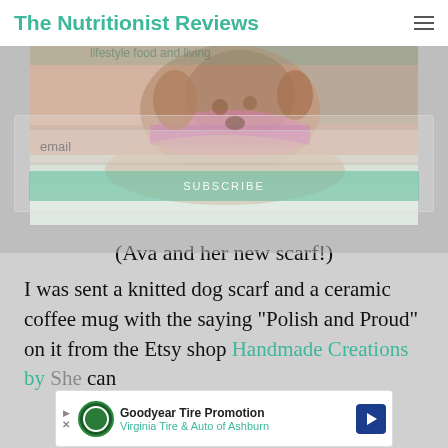The Nutritionist Reviews
[Figure (photo): A dog (Ava) wearing a knitted scarf, lying on what appears to be a bed or soft surface. The image is partially overlaid with an email subscription form.]
(Ava and her new scarf!)
I was sent a knitted dog scarf and a ceramic coffee mug with the saying "Polish and Proud" on it from the Etsy shop Handmade Creations by She... can
[Figure (screenshot): Advertisement banner: Goodyear Tire Promotion - Virginia Tire & Auto of Ashburn]
[Figure (other): Social media sharing icons: Pinterest, Facebook, Email, Twitter, WhatsApp]